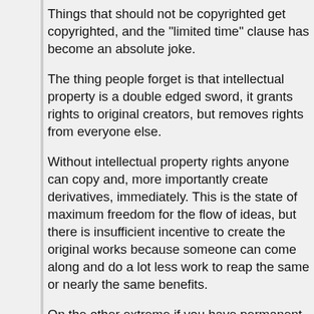Things that should not be copyrighted get copyrighted, and the "limited time" clause has become an absolute joke.
The thing people forget is that intellectual property is a double edged sword, it grants rights to original creators, but removes rights from everyone else.
Without intellectual property rights anyone can copy and, more importantly create derivatives, immediately. This is the state of maximum freedom for the flow of ideas, but there is insufficient incentive to create the original works because someone can come along and do a lot less work to reap the same or nearly the same benefits.
On the other extreme if you have permanent and broad exclusive intellectual property rights then there is enormous incentive to create new intellectual work, but there is a huge suppression of free exchange of ideas since you need to license every prior work that